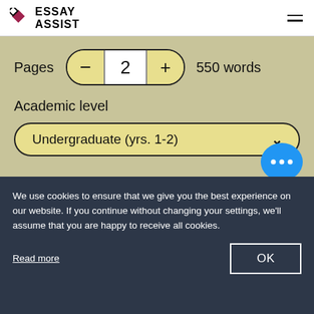[Figure (logo): Essay Assist logo with diamond shape and text]
Pages
2
550 words
Academic level
Undergraduate (yrs. 1-2)
$15 page
14d deadline
12 Sep
We use cookies to ensure that we give you the best experience on our website. If you continue without changing your settings, we'll assume that you are happy to receive all cookies.
Read more
OK